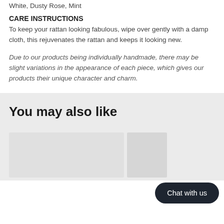White, Dusty Rose, Mint
CARE INSTRUCTIONS
To keep your rattan looking fabulous, wipe over gently with a damp cloth, this rejuvenates the rattan and keeps it looking new.
Due to our products being individually handmade, there may be slight variations in the appearance of each piece, which gives our products their unique character and charm.
You may also like
[Figure (other): Product cards placeholder in a 'You may also like' section with a 'Chat with us' button overlay]